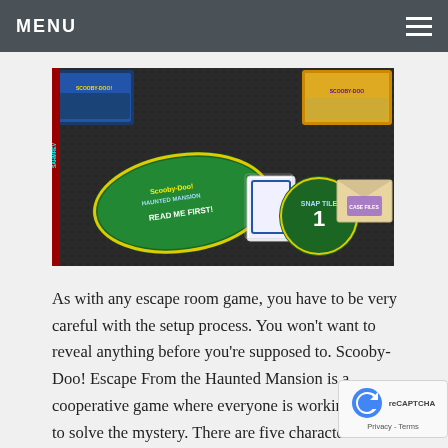MENU
[Figure (photo): Board game components for Scooby-Doo! Escape From the Haunted Mansion spread out on a dark textured surface, showing a 'READ ME FIRST!' booklet, card deck, numbered card, and an envelope, with game boxes visible in the background.]
As with any escape room game, you have to be very careful with the setup process. You won't want to reveal anything before you're supposed to. Scooby-Doo! Escape From the Haunted Mansion is a cooperative game where everyone is working together to solve the mystery. There are five characters and related narrative books, but nobody is "playing" any one. Instead, divvy the narrative books up between the players so everyone can participate in looking up the results. Place the map tiles and clue cards face-d[own] in numerical order. Do NOT shuffle nor look at the botto[m of] the stack! Finally, place the standees and the secret